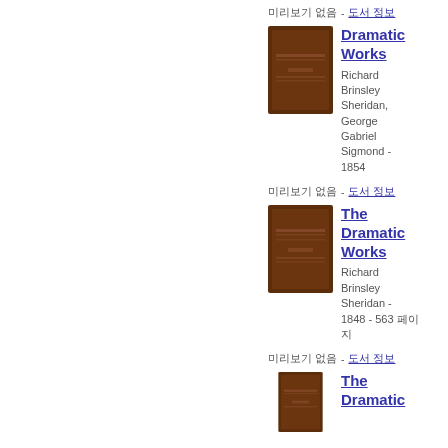미리보기 없음 - 도서 정보
[Figure (illustration): Brown book cover thumbnail for Dramatic Works]
Dramatic Works
Richard Brinsley Sheridan, George Gabriel Sigmond - 1854
미리보기 없음 - 도서 정보
[Figure (illustration): Brown book cover thumbnail for The Dramatic Works]
The Dramatic Works
Richard Brinsley Sheridan - 1848 - 563 페이지
미리보기 없음 - 도서 정보
[Figure (illustration): Brown book cover thumbnail for The Dramatic (third entry)]
The Dramatic